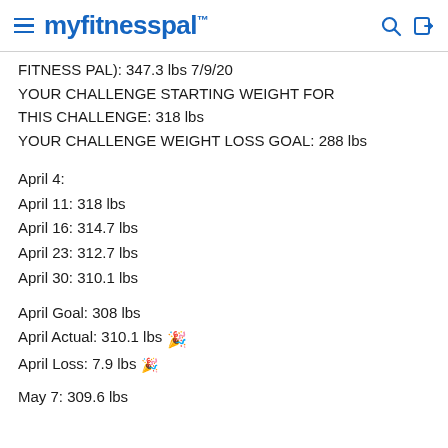myfitnesspal
FITNESS PAL): 347.3 lbs 7/9/20
YOUR CHALLENGE STARTING WEIGHT FOR THIS CHALLENGE: 318 lbs
YOUR CHALLENGE WEIGHT LOSS GOAL: 288 lbs
April 4:
April 11: 318 lbs
April 16: 314.7 lbs
April 23: 312.7 lbs
April 30: 310.1 lbs
April Goal: 308 lbs
April Actual: 310.1 lbs 🎉
April Loss: 7.9 lbs 🎉
May 7: 309.6 lbs